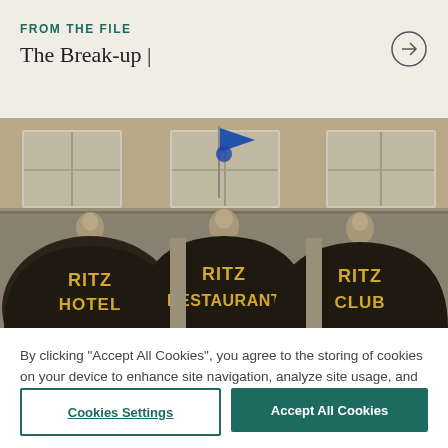FROM THE FILE
The Break-up |
[Figure (photo): Exterior facade of the Ritz Hotel building showing three arched canopies labeled RITZ HOTEL, RITZ RESTAURANT, and RITZ CLUB in gold lettering. Classical stone architecture with decorative sculptures and a blue flag in the center.]
By clicking “Accept All Cookies”, you agree to the storing of cookies on your device to enhance site navigation, analyze site usage, and assist in our marketing efforts.
Cookies Settings
Accept All Cookies